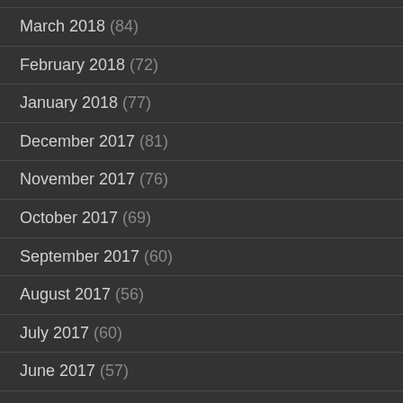March 2018 (84)
February 2018 (72)
January 2018 (77)
December 2017 (81)
November 2017 (76)
October 2017 (69)
September 2017 (60)
August 2017 (56)
July 2017 (60)
June 2017 (57)
May 2017 (46)
April 2017 (59)